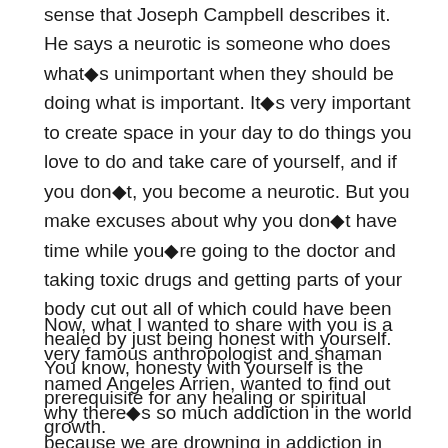sense that Joseph Campbell describes it. He says a neurotic is someone who does what's unimportant when they should be doing what is important. It's very important to create space in your day to do things you love to do and take care of yourself, and if you don't, you become a neurotic. But you make excuses about why you don't have time while you're going to the doctor and taking toxic drugs and getting parts of your body cut out all of which could have been healed by just being honest with yourself. You know, honesty with yourself is the prerequisite for any healing or spiritual growth.
Now, what I wanted to share with you is a very famous anthropologist and shaman named Angeles Arrien, wanted to find out why there's so much addiction in the world because we are drowning in addiction in the world right now. I define an addiction as any repeated behavior that does not produce the results you want. That's an addiction. I drink my coffee...